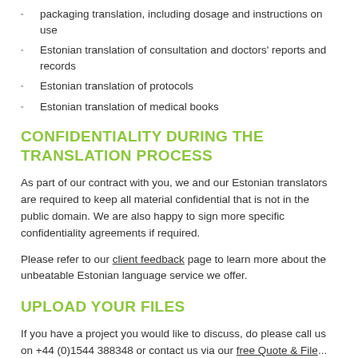packaging translation, including dosage and instructions on use
Estonian translation of consultation and doctors' reports and records
Estonian translation of protocols
Estonian translation of medical books
CONFIDENTIALITY DURING THE TRANSLATION PROCESS
As part of our contract with you, we and our Estonian translators are required to keep all material confidential that is not in the public domain. We are also happy to sign more specific confidentiality agreements if required.
Please refer to our client feedback page to learn more about the unbeatable Estonian language service we offer.
UPLOAD YOUR FILES
If you have a project you would like to discuss, do please call us on +44 (0)1544 388348 or contact us via our free Quote & File...